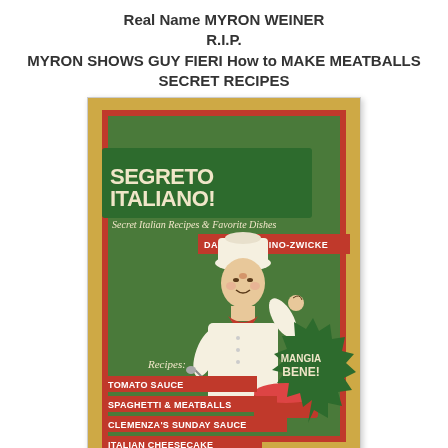Real Name MYRON WEINER
R.I.P.
MYRON SHOWS GUY FIERI How to MAKE MEATBALLS
SECRET RECIPES
[Figure (illustration): Book cover of 'Segreto Italiano! Secret Italian Recipes & Favorite Dishes' by Daniel Bellino-Zwicke. Features a vintage-style illustration of a chef in white hat making an OK gesture, with a cooking pot. Green and gold background with red banner ribbons listing recipes: Tomato Sauce, Spaghetti & Meatballs, Clemenza's Sunday Sauce, Italian Cheesecake, ...and more! A dark starburst says 'Mangia Bene!']